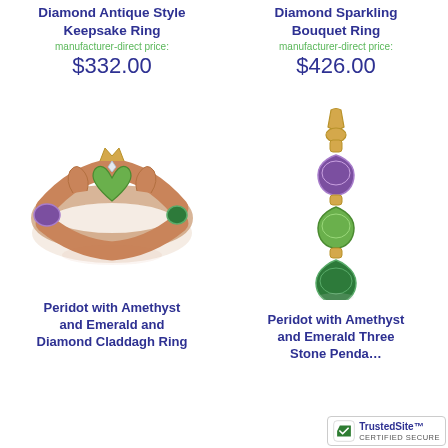Diamond Antique Style Keepsake Ring
manufacturer-direct price:
$332.00
[Figure (photo): Peridot with Amethyst and Emerald and Diamond Claddagh Ring in rose gold]
Peridot with Amethyst and Emerald and Diamond Claddagh Ring
Diamond Sparkling Bouquet Ring
manufacturer-direct price:
$426.00
[Figure (photo): Peridot with Amethyst and Emerald Three Stone Pendant in yellow gold]
Peridot with Amethyst and Emerald Three Stone Pendant